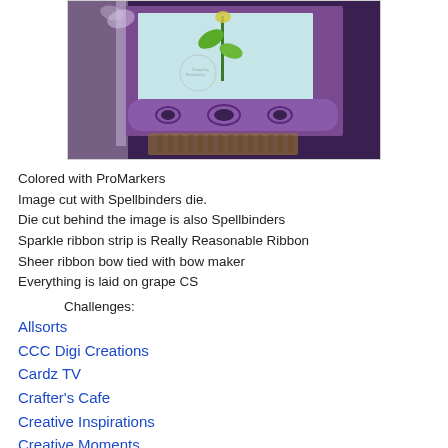[Figure (photo): A handmade greeting card featuring a flower image colored with ProMarkers, a Spellbinders die-cut frame in purple with ornate scrollwork, a sheer ribbon bow, sparkle ribbon strip, all mounted on grape (dark purple) cardstock.]
Colored with ProMarkers
Image cut with Spellbinders die.
Die cut behind the image is also Spellbinders
Sparkle ribbon strip is Really Reasonable Ribbon
Sheer ribbon bow tied with bow maker
Everything is laid on grape CS
Challenges:
Allsorts
CCC Digi Creations
Cardz TV
Crafter's Cafe
Creative Inspirations
Creative Moments